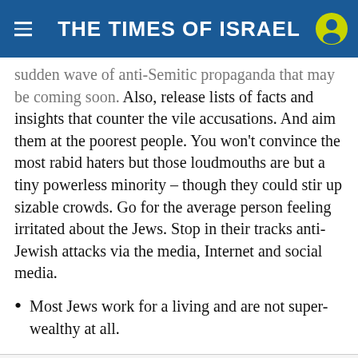THE TIMES OF ISRAEL
sudden wave of anti-Semitic propaganda that may be coming soon. Also, release lists of facts and insights that counter the vile accusations. And aim them at the poorest people. You won't convince the most rabid haters but those loudmouths are but a tiny powerless minority – though they could stir up sizable crowds. Go for the average person feeling irritated about the Jews. Stop in their tracks anti-Jewish attacks via the media, Internet and social media.
Most Jews work for a living and are not super-wealthy at all.
Social share buttons: Facebook, Twitter, Email, WhatsApp